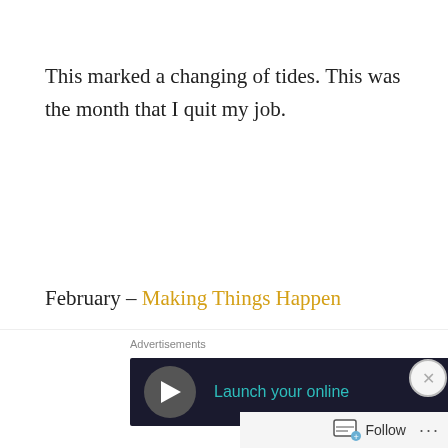This marked a changing of tides. This was the month that I quit my job.
February – Making Things Happen
And this was the month that I took a chance and really went all out for the acting thing. My resume at the time of this post had a total of one (terrible) short film on it, and now I've done four short films, a web series pilot, a television pilot, and a feature
Advertisements
Launch your online
Follow